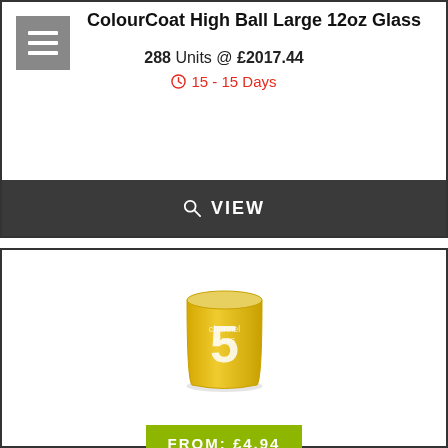ColourCoat High Ball Large 12oz Glass
288 Units @ £2017.44
15 - 15 Days
VIEW
[Figure (photo): A yellow frosted glass with the number 5 printed in white on it, shown on a light grey surface.]
FROM: £4.94
ColourCoat High Ball Small 6oz Glass